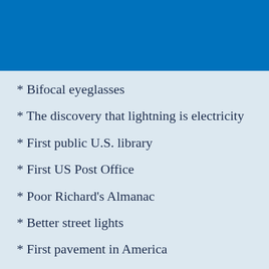[Figure (other): Blue banner/header image at top of page]
* Bifocal eyeglasses
* The discovery that lightning is electricity
* First public U.S. library
* First US Post Office
* Poor Richard's Almanac
* Better street lights
* First pavement in America